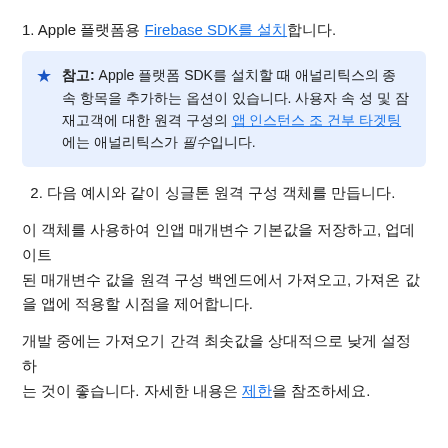1. Apple 플랫폼용 Firebase SDK를 설치합니다.
참고: Apple 플랫폼 SDK를 설치할 때 애널리틱스의 종속 항목을 추가하는 옵션이 있습니다. 사용자 속성 및 잠재고객에 대한 원격 구성의 앱 인스턴스 조건부 타겟팅에는 애널리틱스가 필수입니다.
2. 다음 예시와 같이 싱글톤 원격 구성 객체를 만듭니다.
이 객체를 사용하여 인앱 매개변수 기본값을 저장하고, 업데이트된 매개변수 값을 원격 구성 백엔드에서 가져오고, 가져온 값을 앱에 적용할 시점을 제어합니다.
개발 중에는 가져오기 간격 최솟값을 상대적으로 낮게 설정하는 것이 좋습니다. 자세한 내용은 제한을 참조하세요.